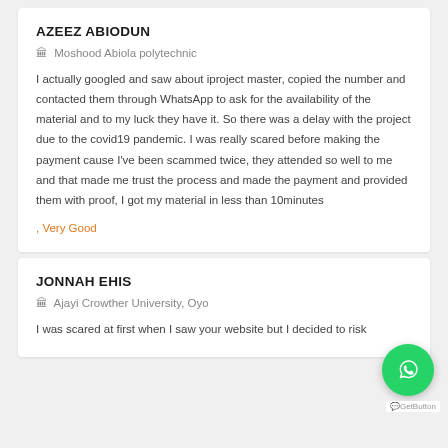AZEEZ ABIODUN
🏛 Moshood Abiola polytechnic
I actually googled and saw about iproject master, copied the number and contacted them through WhatsApp to ask for the availability of the material and to my luck they have it. So there was a delay with the project due to the covid19 pandemic. I was really scared before making the payment cause I've been scammed twice, they attended so well to me and that made me trust the process and made the payment and provided them with proof, I got my material in less than 10minutes
, Very Good
JONNAH EHIS
🏛 Ajayi Crowther University, Oyo
I was scared at first when I saw your website but I decided to risk